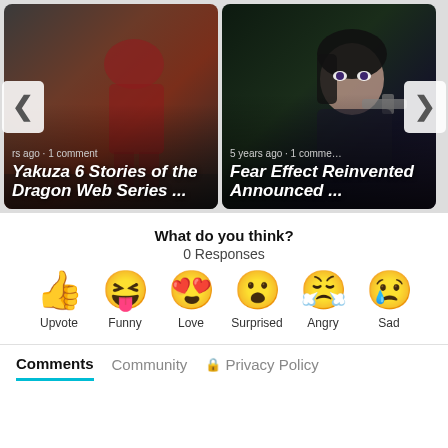[Figure (screenshot): Carousel showing two game article cards: 'Yakuza 6 Stories of the Dragon Web Series ...' with background image of action scene, metadata 'rs ago · 1 comment'; 'Fear Effect Reinvented Announced ...' with anime-style character background, metadata '5 years ago · 1 comment'. Left and right navigation arrows visible.]
What do you think?
0 Responses
[Figure (infographic): Emoji reaction row with six options: Upvote (thumbs up), Funny (laughing emoji), Love (heart eyes), Surprised (surprised face), Angry (crying/blowing nose face), Sad (sad with tear face)]
Comments   Community   Privacy Policy